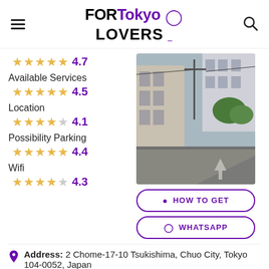FORTokyo LOVERS
Available Services
4.7
4.5
Location
4.1
Possibility Parking
4.4
Wifi
4.3
[Figure (photo): Street view photo of an apartment building in Tsukishima, Chuo City, Tokyo. Shows a multi-story building facade with street and utility poles visible.]
HOW TO GET
WHATSAPP
Address: 2 Chome-17-10 Tsukishima, Chuo City, Tokyo 104-0052, Japan
Guy: Apartment building